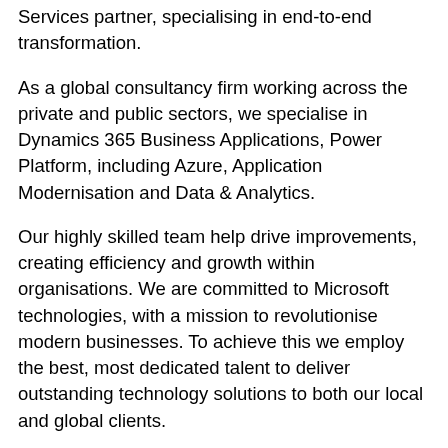Services partner, specialising in end-to-end transformation.
As a global consultancy firm working across the private and public sectors, we specialise in Dynamics 365 Business Applications, Power Platform, including Azure, Application Modernisation and Data & Analytics.
Our highly skilled team help drive improvements, creating efficiency and growth within organisations. We are committed to Microsoft technologies, with a mission to revolutionise modern businesses. To achieve this we employ the best, most dedicated talent to deliver outstanding technology solutions to both our local and global clients.
Be part of our Hitachi family
We also provide the best resources to support the